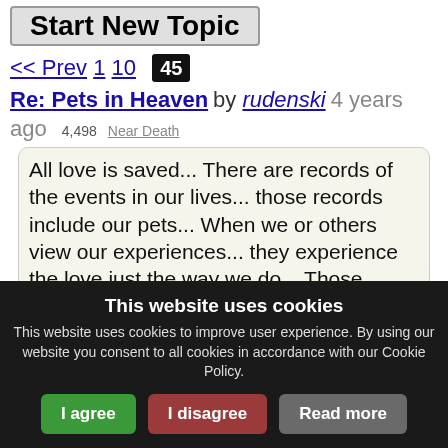Start New Topic
<< Prev 1 10 45
Re: Pets in Heaven by rudenski 4 years ago 4,498 Near Death
All love is saved... There are records of the events in our lives... those records include our pets... When we or others view our experiences... they experience the love just the way we do... Those experiences are spirits that interact with whomever we allow... If you want to interact with that spirit in this life or in other lives... that love will
This website uses cookies
This website uses cookies to improve user experience. By using our website you consent to all cookies in accordance with our Cookie Policy.
I agree
I disagree
Read more